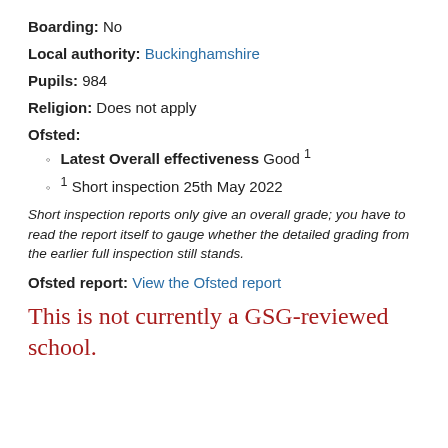Boarding: No
Local authority: Buckinghamshire
Pupils: 984
Religion: Does not apply
Ofsted:
Latest Overall effectiveness Good 1
1 Short inspection 25th May 2022
Short inspection reports only give an overall grade; you have to read the report itself to gauge whether the detailed grading from the earlier full inspection still stands.
Ofsted report: View the Ofsted report
This is not currently a GSG-reviewed school.